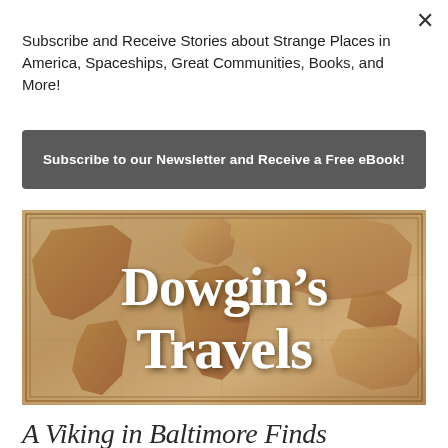Subscribe and Receive Stories about Strange Places in America, Spaceships, Great Communities, Books, and More!
Subscribe to our Newsletter and Receive a Free eBook!
[Figure (illustration): Dowgin's Travels logo/banner image showing an antique world map background with the text 'Dowgin's Travels' in large white serif font with dark shadow, inside a thin double-line border frame]
A Viking in Baltimore Finds